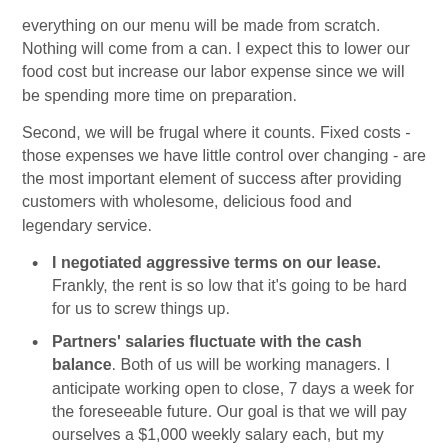everything on our menu will be made from scratch. Nothing will come from a can. I expect this to lower our food cost but increase our labor expense since we will be spending more time on preparation.
Second, we will be frugal where it counts. Fixed costs - those expenses we have little control over changing - are the most important element of success after providing customers with wholesome, delicious food and legendary service.
I negotiated aggressive terms on our lease. Frankly, the rent is so low that it's going to be hard for us to screw things up.
Partners' salaries fluctuate with the cash balance. Both of us will be working managers. I anticipate working open to close, 7 days a week for the foreseeable future. Our goal is that we will pay ourselves a $1,000 weekly salary each, but my salary will range between $250-$2,000 per week depending on our bank balance.
We will be conservative with other expenses